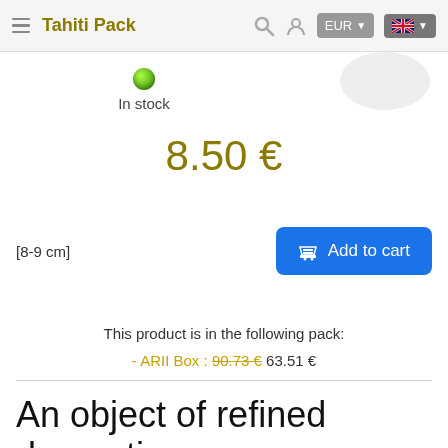☰ Tahiti Pack
In stock
8.50 €
[8-9 cm]
Add to cart
This product is in the following pack:
- ARII Box : 90.73 € 63.51 €
An object of refined decoration